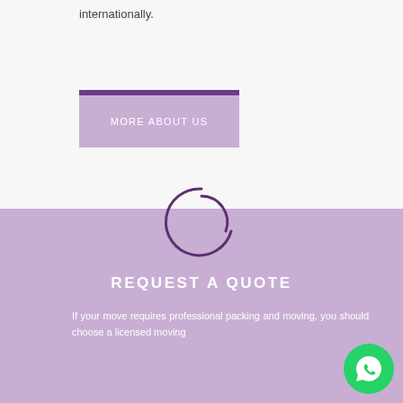internationally.
MORE ABOUT US
[Figure (illustration): Decorative circular arc / loading spinner icon in dark purple on lavender background]
REQUEST A QUOTE
If your move requires professional packing and moving, you should choose a licensed moving
[Figure (illustration): WhatsApp chat button - green circle with white speech bubble icon, bottom right corner]